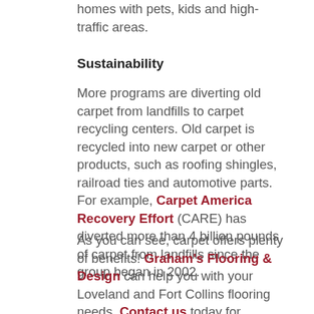homes with pets, kids and high-traffic areas.
Sustainability
More programs are diverting old carpet from landfills to carpet recycling centers. Old carpet is recycled into new carpet or other products, such as roofing shingles, railroad ties and automotive parts. For example, Carpet America Recovery Effort (CARE) has diverted more than 4 billion pounds of carpet from landfills since the group began in 2002.
As you can see, carpet offers plenty of benefits! Graham's Flooring & Design can help you with your Loveland and Fort Collins flooring needs. Contact us today for